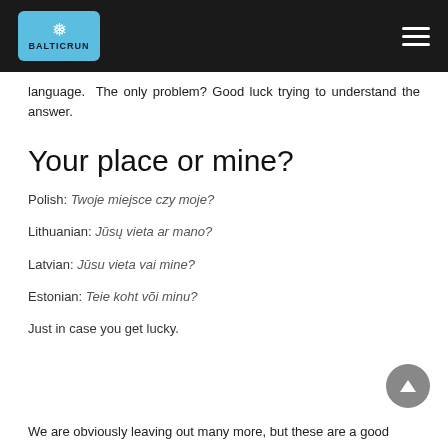BALTICRUN
language. The only problem? Good luck trying to understand the answer.
Your place or mine?
Polish: Twoje miejsce czy moje?
Lithuanian: Jūsų vieta ar mano?
Latvian: Jūsu vieta vai mine?
Estonian: Teie koht või minu?
Just in case you get lucky.
We are obviously leaving out many more, but these are a good